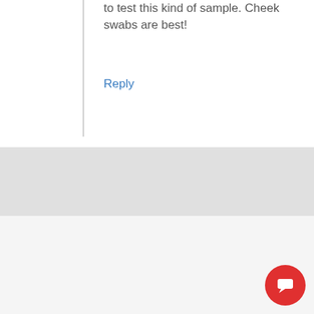to test this kind of sample. Cheek swabs are best!
Reply
Osvel Romero says
July 8, 2015 at 6:31 pm
Hi I need a dna test..me and my girlfriend want to know if I'm the Father of our baby girl.. we had a falling out around time of